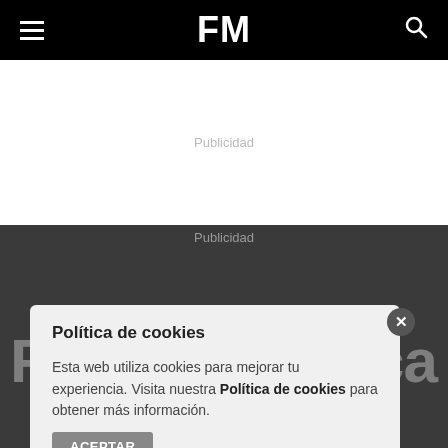FM
Publicidad
Publicidad
FutbolMallorca
Política de cookies
Esta web utiliza cookies para mejorar tu experiencia. Visita nuestra Política de cookies para obtener más información.